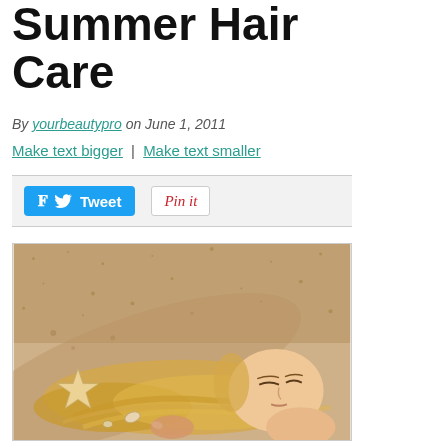Summer Hair Care
By yourbeautypro on June 1, 2011
Make text bigger | Make text smaller
[Figure (other): Tweet button and Pin It button share bar]
[Figure (photo): Woman with blonde hair lying on a sandy beach with starfish and seashells, eyes closed]